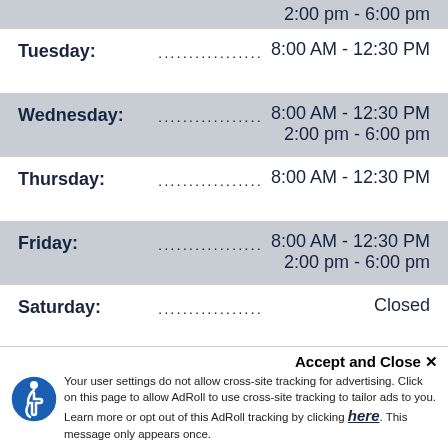2:00 pm - 6:00 pm
Tuesday: 8:00 AM - 12:30 PM
Wednesday: 8:00 AM - 12:30 PM / 2:00 pm - 6:00 pm
Thursday: 8:00 AM - 12:30 PM
Friday: 8:00 AM - 12:30 PM / 2:00 pm - 6:00 pm
Saturday: Closed
Sunday: Closed
Accept and Close ✕ Your user settings do not allow cross-site tracking for advertising. Click on this page to allow AdRoll to use cross-site tracking to tailor ads to you. Learn more or opt out of this AdRoll tracking by clicking here. This message only appears once.